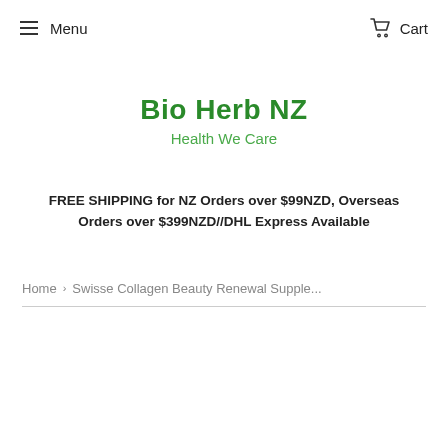Menu   Cart
Bio Herb NZ
Health We Care
FREE SHIPPING for NZ Orders over $99NZD, Overseas Orders over $399NZD//DHL Express Available
Home › Swisse Collagen Beauty Renewal Supple...